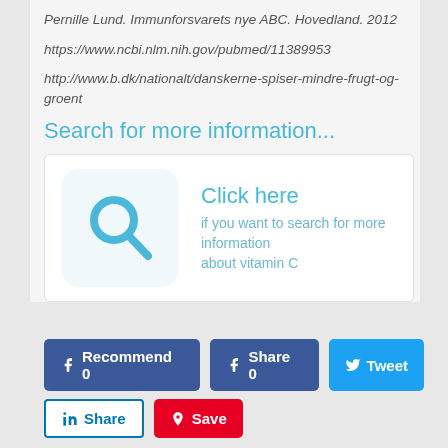Pernille Lund. Immunforsvarets nye ABC. Hovedland. 2012
https://www.ncbi.nlm.nih.gov/pubmed/11389953
http://www.b.dk/nationalt/danskerne-spiser-mindre-frugt-og-groent
Search for more information...
[Figure (illustration): Search icon (magnifying glass) with teal/cyan color on a light background panel, next to 'Click here if you want to search for more information about vitamin C' text]
[Figure (other): Social sharing buttons: Facebook Recommend 0, Facebook Share 0, Twitter Tweet, LinkedIn Share, Pinterest Save]